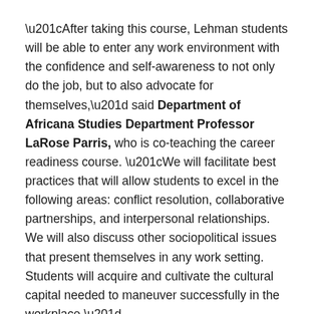“After taking this course, Lehman students will be able to enter any work environment with the confidence and self-awareness to not only do the job, but to also advocate for themselves,” said Department of Africana Studies Department Professor LaRose Parris, who is co-teaching the career readiness course. “We will facilitate best practices that will allow students to excel in the following areas: conflict resolution, collaborative partnerships, and interpersonal relationships. We will also discuss other sociopolitical issues that present themselves in any work setting. Students will acquire and cultivate the cultural capital needed to maneuver successfully in the workplace.”
“The Bronx Recovery Corps program truly illustrates what we mean when we refer to Lehman College as a catalytic anchor institution in the Bronx,” said Lehman College